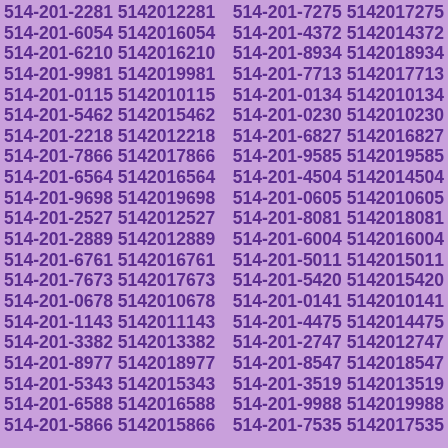514-201-2281 5142012281 514-201-7275 5142017275 514-201-6054 5142016054 514-201-4372 5142014372 514-201-6210 5142016210 514-201-8934 5142018934 514-201-9981 5142019981 514-201-7713 5142017713 514-201-0115 5142010115 514-201-0134 5142010134 514-201-5462 5142015462 514-201-0230 5142010230 514-201-2218 5142012218 514-201-6827 5142016827 514-201-7866 5142017866 514-201-9585 5142019585 514-201-6564 5142016564 514-201-4504 5142014504 514-201-9698 5142019698 514-201-0605 5142010605 514-201-2527 5142012527 514-201-8081 5142018081 514-201-2889 5142012889 514-201-6004 5142016004 514-201-6761 5142016761 514-201-5011 5142015011 514-201-7673 5142017673 514-201-5420 5142015420 514-201-0678 5142010678 514-201-0141 5142010141 514-201-1143 5142011143 514-201-4475 5142014475 514-201-3382 5142013382 514-201-2747 5142012747 514-201-8977 5142018977 514-201-8547 5142018547 514-201-5343 5142015343 514-201-3519 5142013519 514-201-6588 5142016588 514-201-9988 5142019988 514-201-5866 5142015866 514-201-7535 5142017535